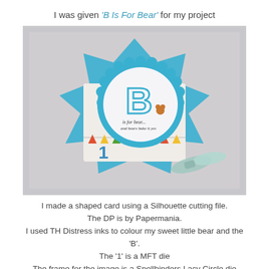I was given 'B Is For Bear' for my project
[Figure (photo): A handmade shaped card featuring a large scalloped circle with the letter 'B' and text 'is for bear... and bears bake it yes', a blue decorative star-shaped card base with bunting, the number '1' in blue, and a mint green ribbon bow.]
I made a shaped card using a Silhouette cutting file. The DP is by Papermania. I used TH Distress inks to colour my sweet little bear and the 'B'. The '1' is a MFT die The frame for the image is a Spellbinders Lacy Circle die